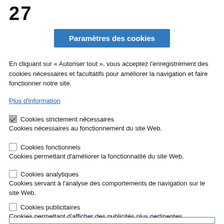27
Paramètres des cookies
En cliquant sur « Autoriser tout », vous acceptez l'enregistrement des cookies nécessaires et facultatifs pour améliorer la navigation et faire fonctionner notre site.
Plus d'information
Cookies strictement nécessaires
Cookies nécessaires au fonctionnement du site Web.
Cookies fonctionnels
Cookies permettant d'améliorer la fonctionnalité du site Web.
Cookies analytiques
Cookies servant à l'analyse des comportements de navigation sur le site Web.
Cookies publicitaires
Cookies permettant d'afficher des publicités plus pertinentes.